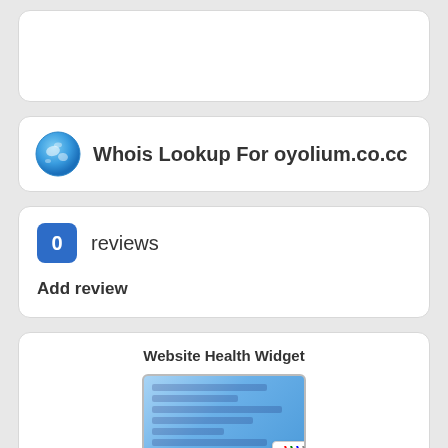[Figure (other): Partially visible card at top of page (cut off)]
Whois Lookup For oyolium.co.cc
0 reviews
Add review
Website Health Widget
[Figure (screenshot): Website health widget showing a screenshot mockup with 15% health indicator badge and colored cables]